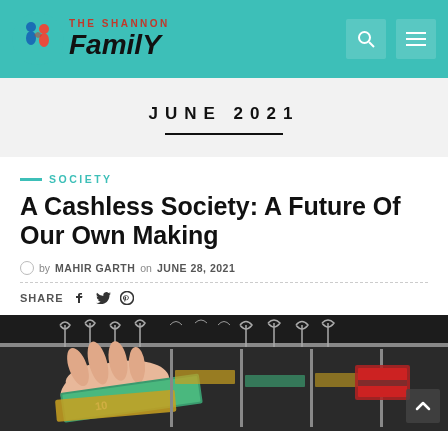THE SHANNON Family
JUNE 2021
SOCIETY
A Cashless Society: A Future Of Our Own Making
by MAHIR GARTH on JUNE 28, 2021
SHARE
[Figure (photo): A hand pulling Australian currency banknotes from a black metal cash register drawer, with multiple divider clips visible.]